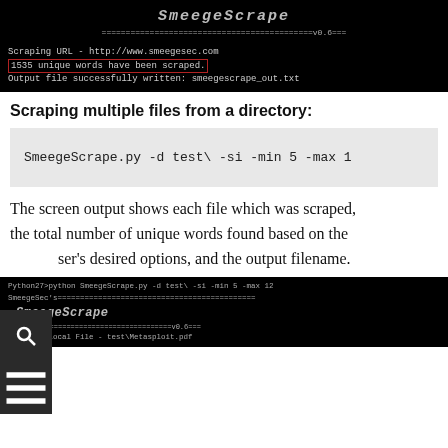[Figure (screenshot): Terminal/command-line window showing SmeegeScrape tool logo, version v0.6, scraping URL http://www.smeegesec.com, output showing 1535 unique words have been scraped (highlighted in red box), and output file smeegescrape_out.txt]
Scraping multiple files from a directory:
[Figure (screenshot): Code block showing command: SmeegeScrape.py -d test\ -si -min 5 -max 1]
The screen output shows each file which was scraped, the total number of unique words found based on the user's desired options, and the output filename.
[Figure (screenshot): Terminal window showing Python27>python SmeegeScrape.py -d test\ -si -min 5 -max 12, SmeegeSec's banner, SmeegeScrape logo, v0.6, Scraping Local File - test\Metasploit.pdf]